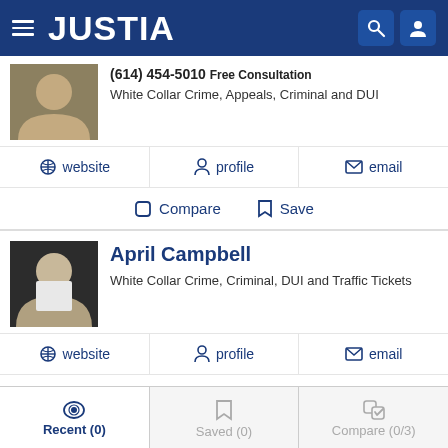JUSTIA
(614) 454-5010 Free Consultation
White Collar Crime, Appeals, Criminal and DUI
website | profile | email
Compare | Save
April Campbell
White Collar Crime, Criminal, DUI and Traffic Tickets
website | profile | email
Compare | Save
Recent (0) | Saved (0) | Compare (0/3)